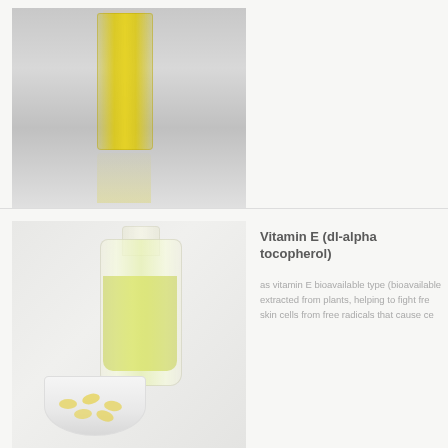[Figure (photo): A glass vial filled with yellow/golden liquid (oil) with its reflection on a grey surface]
[Figure (photo): A large glass bottle filled with pale yellow oil next to a white ceramic bowl containing yellow capsules]
Vitamin E (dl-alpha tocopherol)
as vitamin E bioavailable type (bioavailable extracted from plants, helping to fight free skin cells from free radicals that cause ce